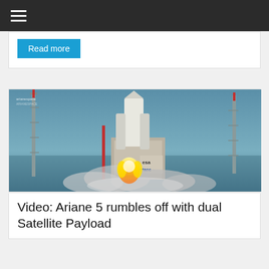≡
Read more
[Figure (photo): Ariane 5 rocket launching with ESA/Ariane branding visible on launch structure, flames and smoke at base, tall launch towers visible]
Video: Ariane 5 rumbles off with dual Satellite Payload